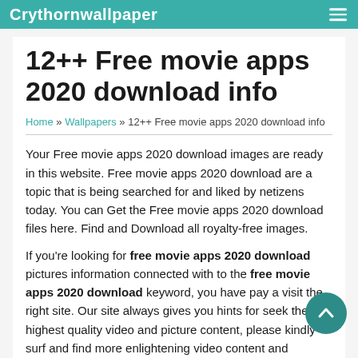Crythornwallpaper
12++ Free movie apps 2020 download info
Home » Wallpapers » 12++ Free movie apps 2020 download info
Your Free movie apps 2020 download images are ready in this website. Free movie apps 2020 download are a topic that is being searched for and liked by netizens today. You can Get the Free movie apps 2020 download files here. Find and Download all royalty-free images.
If you're looking for free movie apps 2020 download pictures information connected with to the free movie apps 2020 download keyword, you have pay a visit the right site. Our site always gives you hints for seeking the highest quality video and picture content, please kindly surf and find more enlightening video content and